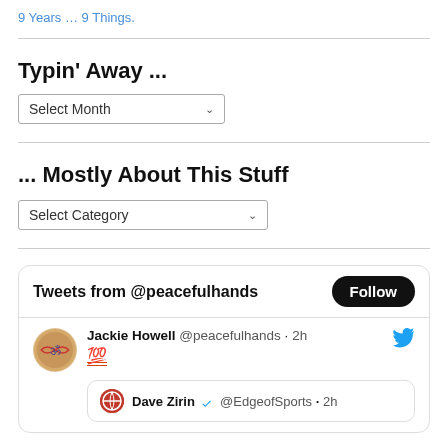9 Years … 9 Things.
Typin' Away ...
Select Month
... Mostly About This Stuff
Select Category
[Figure (screenshot): Twitter/X widget showing tweets from @peacefulhands with a Follow button, and a tweet by Jackie Howell (@peacefulhands) 2h ago with 💯 emoji, with a nested tweet from Dave Zirin @EdgeofSports · 2h]